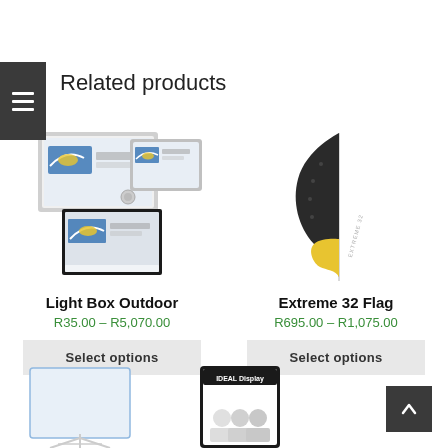Related products
[Figure (photo): Light Box Outdoor product image showing illuminated display boxes with South African Airways branding]
Light Box Outdoor
R35.00 – R5,070.00
Select options
[Figure (photo): Extreme 32 Flag product image showing a tall feather-shaped flag in dark grey and yellow colors]
Extreme 32 Flag
R695.00 – R1,075.00
Select options
[Figure (photo): Partial view of additional related products at the bottom of the page]